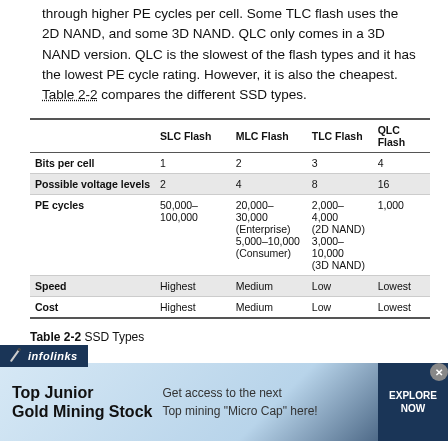through higher PE cycles per cell. Some TLC flash uses the 2D NAND, and some 3D NAND. QLC only comes in a 3D NAND version. QLC is the slowest of the flash types and it has the lowest PE cycle rating. However, it is also the cheapest. Table 2-2 compares the different SSD types.
|  | SLC Flash | MLC Flash | TLC Flash | QLC Flash |
| --- | --- | --- | --- | --- |
| Bits per cell | 1 | 2 | 3 | 4 |
| Possible voltage levels | 2 | 4 | 8 | 16 |
| PE cycles | 50,000–100,000 | 20,000–30,000 (Enterprise) 5,000–10,000 (Consumer) | 2,000–4,000 (2D NAND) 3,000–10,000 (3D NAND) | 1,000 |
| Speed | Highest | Medium | Low | Lowest |
| Cost | Highest | Medium | Low | Lowest |
Table 2-2  SSD Types
[Figure (screenshot): Advertisement banner from infolinks for Top Junior Gold Mining Stock with pencil graphic, text 'Get access to the next Top mining Micro Cap here!' and an EXPLORE NOW button.]